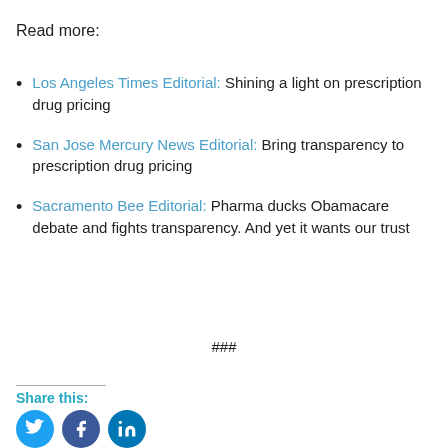Read more:
Los Angeles Times Editorial: Shining a light on prescription drug pricing
San Jose Mercury News Editorial: Bring transparency to prescription drug pricing
Sacramento Bee Editorial: Pharma ducks Obamacare debate and fights transparency. And yet it wants our trust
###
Share this: